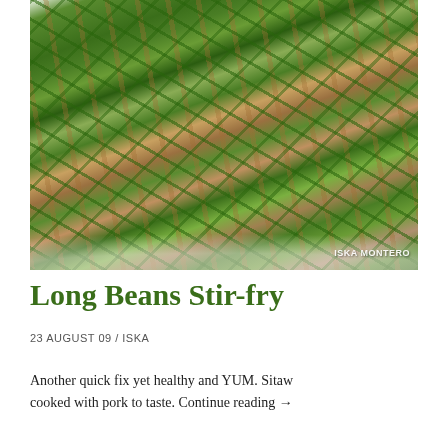[Figure (photo): A bowl of long beans stir-fry with pork, featuring bright green long beans (sitaw) and pieces of cooked pork, with a watermark reading ISKA MONTERO in the bottom right corner.]
Long Beans Stir-fry
23 AUGUST 09 / ISKA
Another quick fix yet healthy and YUM. Sitaw cooked with pork to taste. Continue reading →